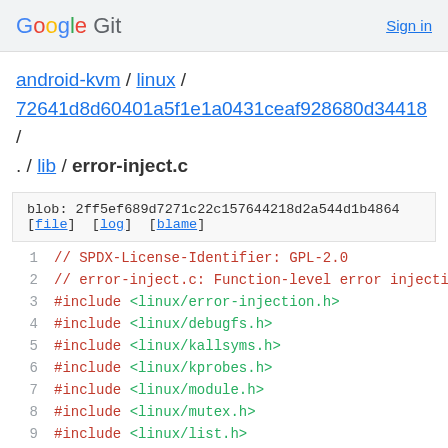Google Git  Sign in
android-kvm / linux / 72641d8d60401a5f1e1a0431ceaf928680d34418 / . / lib / error-inject.c
blob: 2ff5ef689d7271c22c157644218d2a544d1b4864
[file] [log] [blame]
1  // SPDX-License-Identifier: GPL-2.0
2  // error-inject.c: Function-level error injectio
3  #include <linux/error-injection.h>
4  #include <linux/debugfs.h>
5  #include <linux/kallsyms.h>
6  #include <linux/kprobes.h>
7  #include <linux/module.h>
8  #include <linux/mutex.h>
9  #include <linux/list.h>
10 #include <linux/slab.h>